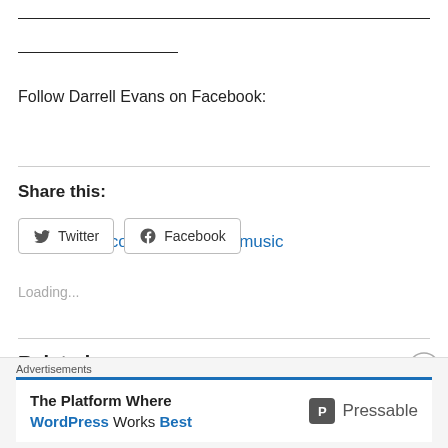Follow Darrell Evans on Facebook:
facebook.com/darrellevansmusic
Share this:
Twitter  Facebook
Loading...
Related
Advertisements
The Platform Where WordPress Works Best  Pressable